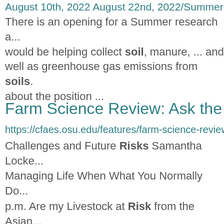August 10th, 2022 August 22nd, 2022/Summer ... There is an opening for a Summer research a... would be helping collect soil, manure, ... and ... well as greenhouse gas emissions from soils. ... about the position ...
Farm Science Review: Ask the Exper...
https://cfaes.osu.edu/features/farm-science-review-a... Challenges and Future Risks Samantha Locke... Managing Life When What You Normally Do... p.m. Are my Livestock at Risk from the Asian... Timothy McDermott 2:40 p.m. How Does ... ... Farm to Market Steve Boyles 2:20 p.m. Impro... Is it Worth It? Rachel ...